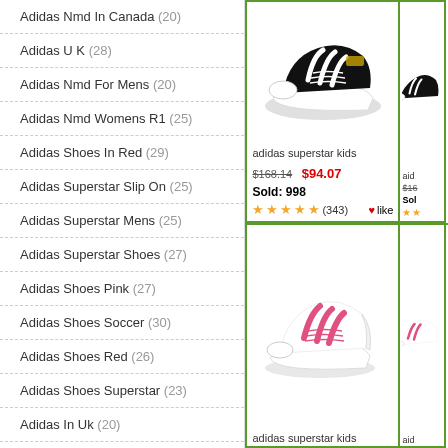Adidas Nmd In Canada (20)
Adidas U K (28)
Adidas Nmd For Mens (20)
Adidas Nmd Womens R1 (25)
Adidas Shoes In Red (29)
Adidas Superstar Slip On (25)
Adidas Superstar Mens (25)
Adidas Superstar Shoes (27)
Adidas Shoes Pink (27)
Adidas Shoes Soccer (30)
Adidas Shoes Red (26)
Adidas Shoes Superstar (23)
Adidas In Uk (20)
Adidas Women Nmd R1 (27)
Adidas Bounce (27)
Adidas Cleats Football (28)
[Figure (photo): Black and white Adidas Superstar kids shoe with gold logo]
adidas superstar kids
$168.14  $94.07  Sold: 998  ★★★★★(343)  ♥like
[Figure (photo): White and pink Adidas Superstar kids shoe]
adidas superstar kids